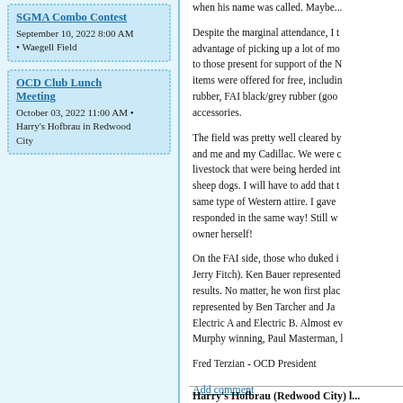SGMA Combo Contest
September 10, 2022 8:00 AM • Waegell Field
OCD Club Lunch Meeting
October 03, 2022 11:00 AM • Harry's Hofbrau in Redwood City
when his name was called. Maybe...
Despite the marginal attendance, I took advantage of picking up a lot of mo... to those present for support of the N... items were offered for free, includin... rubber, FAI black/grey rubber (goo... accessories.
The field was pretty well cleared by... and me and my Cadillac. We were c... livestock that were being herded int... sheep dogs. I will have to add that t... same type of Western attire. I gave... responded in the same way! Still w... owner herself!
On the FAI side, those who duked i... Jerry Fitch). Ken Bauer represented... results. No matter, he won first plac... represented by Ben Tarcher and Ja... Electric A and Electric B. Almost eve... Murphy winning, Paul Masterman, l...
Fred Terzian - OCD President
Add comment
Harry's Hofbrau (Redwood City) l...